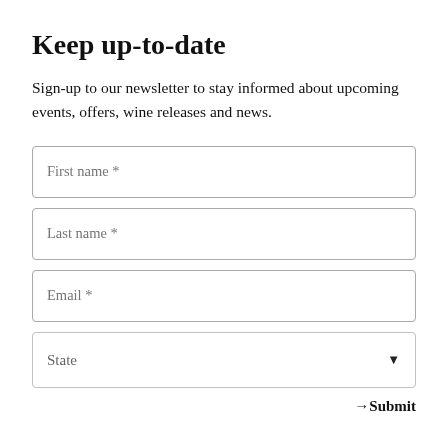Keep up-to-date
Sign-up to our newsletter to stay informed about upcoming events, offers, wine releases and news.
First name *
Last name *
Email *
State
→Submit